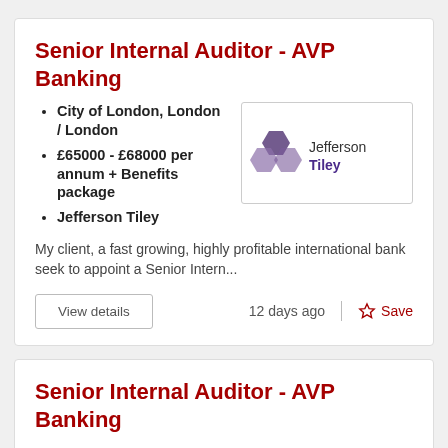Senior Internal Auditor - AVP Banking
City of London, London / London
£65000 - £68000 per annum + Benefits package
Jefferson Tiley
[Figure (logo): Jefferson Tiley company logo with purple hexagon shapes]
My client, a fast growing, highly profitable international bank seek to appoint a Senior Intern...
View details
12 days ago
Save
Senior Internal Auditor - AVP Banking